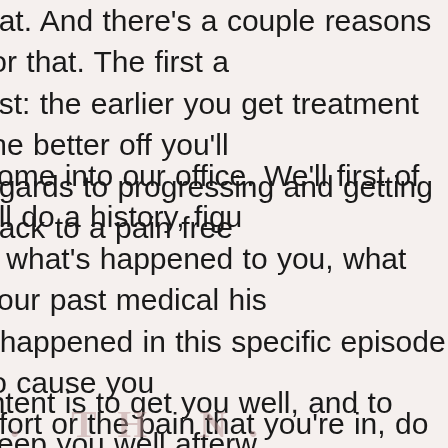bat. And there's a couple reasons for that. The first a ost: the earlier you get treatment the better off you'll egards to progressing and getting back to a pain free .
come into our office. We'll first of all do a history, figu y what's happened to you, what your past medical his t happened in this specific episode to cause you nfort or the pain that you're in, do a full examination a reate a plan of management that's A: going to get yo pain cycle that you're in and also B: get you back into ver activity or whatever kind of work you do and also u recovered and get you out of the pain cycle so you y get back into that pain cycle again.
intent is to get you well, and to keep you well afterw